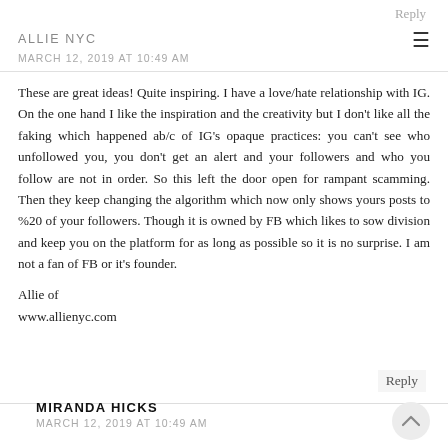Reply
ALLIE NYC
MARCH 12, 2019 AT 10:49 AM
These are great ideas! Quite inspiring. I have a love/hate relationship with IG. On the one hand I like the inspiration and the creativity but I don't like all the faking which happened ab/c of IG's opaque practices: you can't see who unfollowed you, you don't get an alert and your followers and who you follow are not in order. So this left the door open for rampant scamming. Then they keep changing the algorithm which now only shows yours posts to %20 of your followers. Though it is owned by FB which likes to sow division and keep you on the platform for as long as possible so it is no surprise. I am not a fan of FB or it's founder.
Allie of
www.allienyc.com
Reply
MIRANDA HICKS
MARCH 12, 2019 AT 10:49 AM
This comment has been removed by the author.